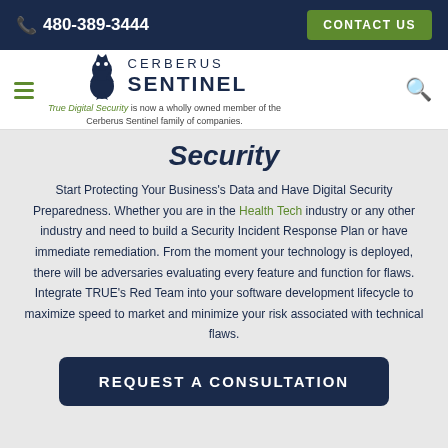📞 480-389-3444   CONTACT US
[Figure (logo): Cerberus Sentinel logo with lion/griffin icon, company name 'CERBERUS SENTINEL', tagline 'True Digital Security is now a wholly owned member of the Cerberus Sentinel family of companies.']
Security
Start Protecting Your Business's Data and Have Digital Security Preparedness. Whether you are in the Health Tech industry or any other industry and need to build a Security Incident Response Plan or have immediate remediation. From the moment your technology is deployed, there will be adversaries evaluating every feature and function for flaws. Integrate TRUE's Red Team into your software development lifecycle to maximize speed to market and minimize your risk associated with technical flaws.
REQUEST A CONSULTATION